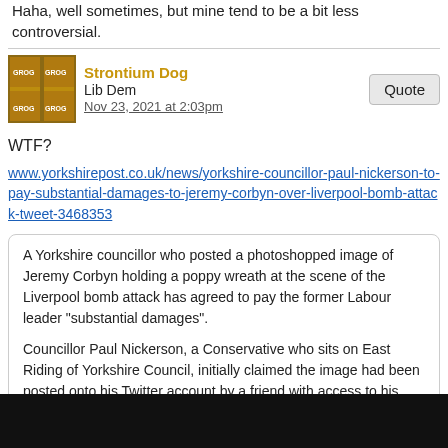Haha, well sometimes, but mine tend to be a bit less controversial.
Strontium Dog
Lib Dem
Nov 23, 2021 at 2:03pm
WTF?
www.yorkshirepost.co.uk/news/yorkshire-councillor-paul-nickerson-to-pay-substantial-damages-to-jeremy-corbyn-over-liverpool-bomb-attack-tweet-3468353
A Yorkshire councillor who posted a photoshopped image of Jeremy Corbyn holding a poppy wreath at the scene of the Liverpool bomb attack has agreed to pay the former Labour leader "substantial damages".

Councillor Paul Nickerson, a Conservative who sits on East Riding of Yorkshire Council, initially claimed the image had been posted onto his Twitter account by a friend with access to his account but has now accepted "full responsibility" for the message.

Mr Corbyn is donating the damages he has received to a number of different charities, including one in Liverpool.